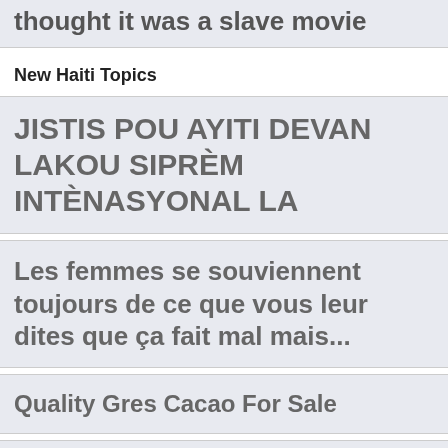thought it was a slave movie
New Haiti Topics
JISTIS POU AYITI DEVAN LAKOU SIPRÈM INTÈNASYONAL LA
Les femmes se souviennent toujours de ce que vous leur dites que ça fait mal mais...
Quality Gres Cacao For Sale
netwayai pévi a